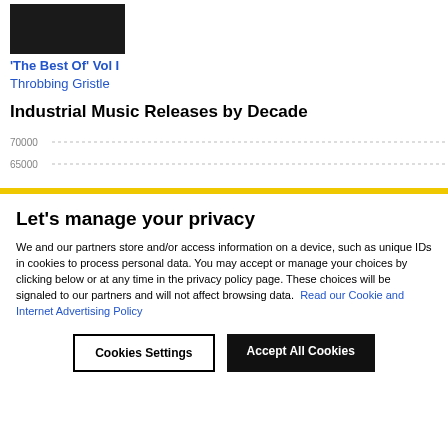[Figure (photo): Album cover image, dark/black photograph]
'The Best Of' Vol I
Throbbing Gristle
Industrial Music Releases by Decade
[Figure (continuous-plot): Partial bar chart for Industrial Music Releases by Decade, showing y-axis labels 70000 and 65000 with dotted gridlines]
Let's manage your privacy
We and our partners store and/or access information on a device, such as unique IDs in cookies to process personal data. You may accept or manage your choices by clicking below or at any time in the privacy policy page. These choices will be signaled to our partners and will not affect browsing data.  Read our Cookie and Internet Advertising Policy
Cookies Settings
Accept All Cookies